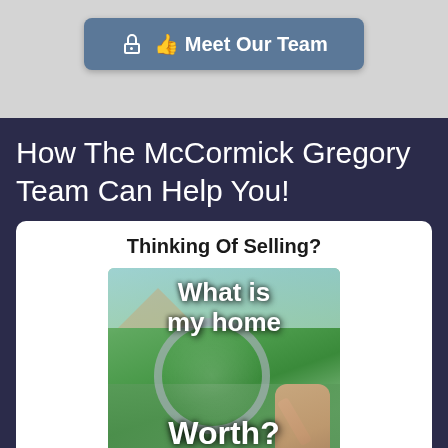[Figure (other): Button labeled 'Meet Our Team' with a hand/thumbs icon, on a light gray background]
How The McCormick Gregory Team Can Help You!
Thinking Of Selling?
[Figure (photo): Promotional image showing text 'What is my home Worth?' overlaid on a photo of a house exterior with a magnifying glass held by a hand]